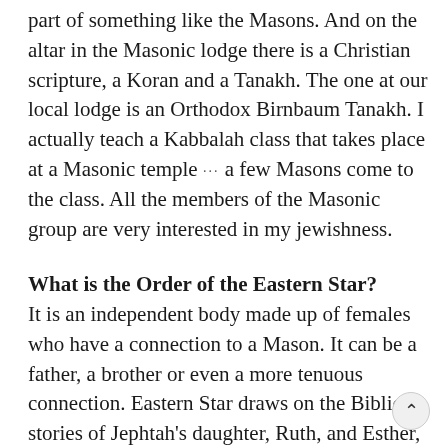part of something like the Masons. And on the altar in the Masonic lodge there is a Christian scripture, a Koran and a Tanakh. The one at our local lodge is an Orthodox Birnbaum Tanakh. I actually teach a Kabbalah class that takes place at a Masonic temple ··· a few Masons come to the class. All the members of the Masonic group are very interested in my jewishness.
What is the Order of the Eastern Star?
It is an independent body made up of females who have a connection to a Mason. It can be a father, a brother or even a more tenuous connection. Eastern Star draws on the Biblical stories of Jephtah's daughter, Ruth, and Esther, as well as Christian stories, such as the story of Martha. It uses them as a